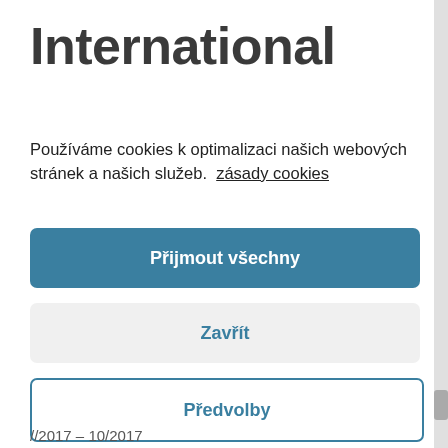International
Používáme cookies k optimalizaci našich webových stránek a našich služeb.  zásady cookies
Přijmout všechny
Zavřít
Předvolby
//2017 – 10/2017